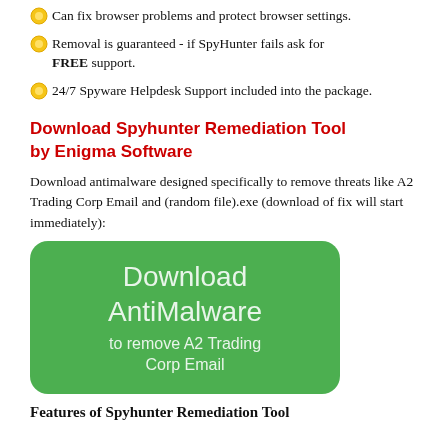Can fix browser problems and protect browser settings.
Removal is guaranteed - if SpyHunter fails ask for FREE support.
24/7 Spyware Helpdesk Support included into the package.
Download Spyhunter Remediation Tool by Enigma Software
Download antimalware designed specifically to remove threats like A2 Trading Corp Email and (random file).exe (download of fix will start immediately):
[Figure (other): Green rounded rectangle download button with text 'Download AntiMalware to remove A2 Trading Corp Email']
Features of Spyhunter Remediation Tool